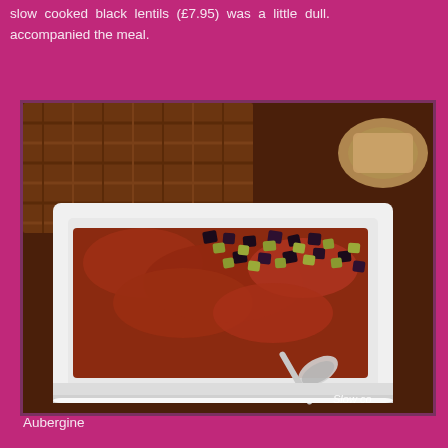slow cooked black lentils (£7.95) was a little dull. accompanied the meal.
[Figure (photo): A white square bowl containing a rich tomato-based dish topped with diced aubergine (eggplant) pieces, served with a spoon, on a wicker/basket background. Text 'Slow co' visible in bottom right corner of photo.]
Aubergine